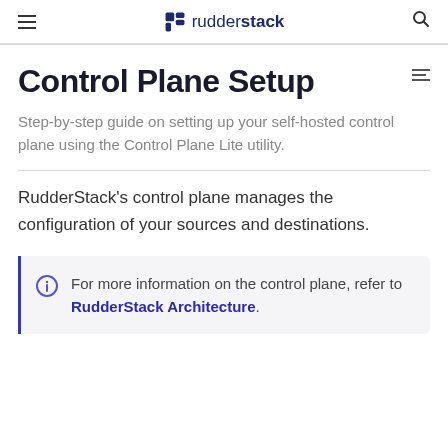rudderstack
Control Plane Setup
Step-by-step guide on setting up your self-hosted control plane using the Control Plane Lite utility.
RudderStack's control plane manages the configuration of your sources and destinations.
For more information on the control plane, refer to RudderStack Architecture.